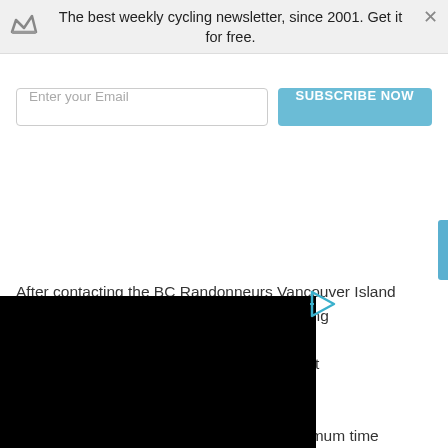The best weekly cycling newsletter, since 2001. Get it for free.
[Figure (screenshot): Email subscription form with text input labeled 'Enter your Email' and a blue 'SUBSCRIBE NOW' button]
[Figure (photo): Black redacted/censored rectangle covering left portion of article text]
After contacting the BC Randonneurs Vancouver Island Randonneur-cycling lapsed times are escribed route that nger than) the oute fast, or slow, and as long as one finishes within the maximum time limit, everyone receives a finishing pin for that distance.